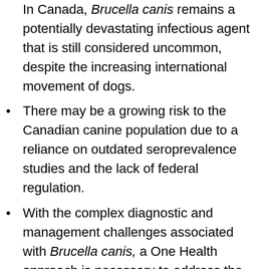In Canada, Brucella canis remains a potentially devastating infectious agent that is still considered uncommon, despite the increasing international movement of dogs.
There may be a growing risk to the Canadian canine population due to a reliance on outdated seroprevalence studies and the lack of federal regulation.
With the complex diagnostic and management challenges associated with Brucella canis, a One Health approach is necessary to address the need for ongoing research, including updating canine and human seroprevalence rates in Canada, elucidating the pathogenesis, and